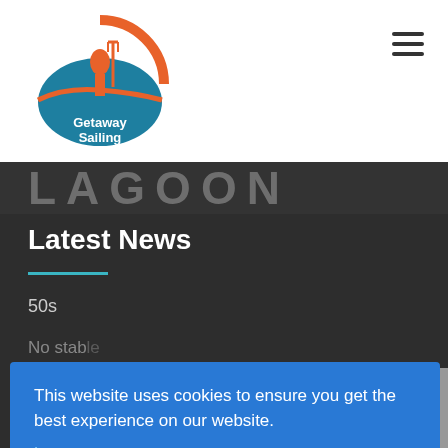[Figure (logo): Getaway Sailing logo — circular badge with orange and teal colors, figure holding a trident, text 'Getaway Sailing' below]
LAGOON
Latest News
50s
No stable...
This website uses cookies to ensure you get the best experience on our website. Learn more
Got it!